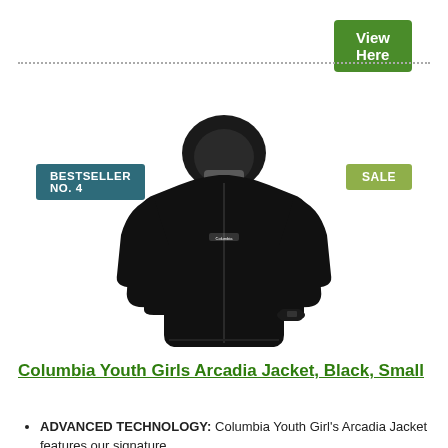View Here
BESTSELLER NO. 4
SALE
[Figure (photo): Black Columbia Youth Girls Arcadia Jacket with hood, product photo on white background]
Columbia Youth Girls Arcadia Jacket, Black, Small
ADVANCED TECHNOLOGY: Columbia Youth Girl's Arcadia Jacket features our signature,